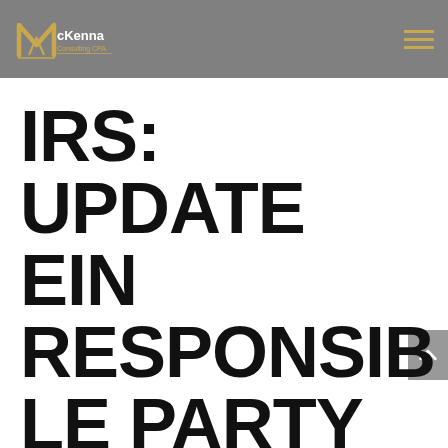McKenna Consulting CPA
IRS: UPDATE EIN RESPONSIBLE PARTY INFORMATION